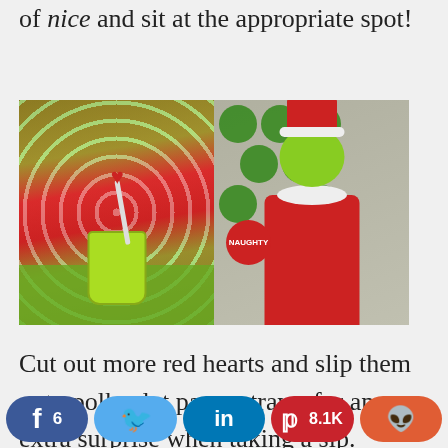of nice and sit at the appropriate spot!
[Figure (photo): Two-panel photo: left shows a green paper cup with a straw topped with a red heart, surrounded by Christmas party decorations in red/green colors; right shows a person wearing a Grinch mask and red Santa costume holding a green drink, with green plates on the wall behind them.]
Cut out more red hearts and slip them onto polka dot paper straws for an extra surprise when taking a sip.
f 6  [Twitter]  in  P 8.1K  [Reddit]